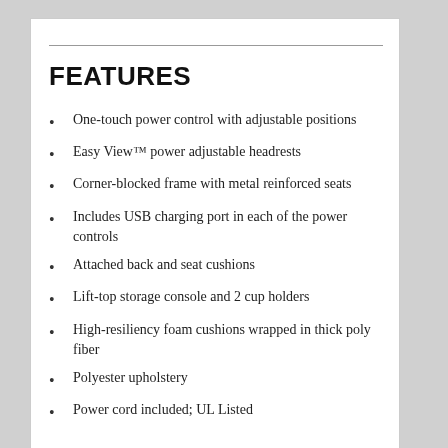FEATURES
One-touch power control with adjustable positions
Easy View™ power adjustable headrests
Corner-blocked frame with metal reinforced seats
Includes USB charging port in each of the power controls
Attached back and seat cushions
Lift-top storage console and 2 cup holders
High-resiliency foam cushions wrapped in thick poly fiber
Polyester upholstery
Power cord included; UL Listed